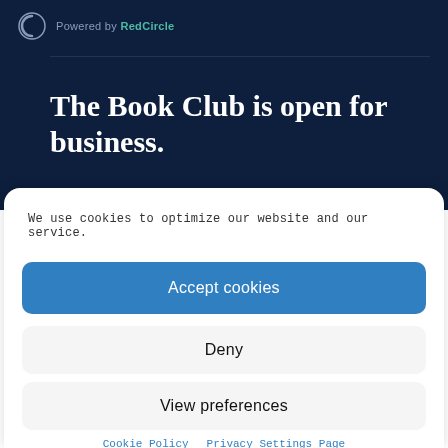Powered by RedCircle
The Book Club is open for business.
We use cookies to optimize our website and our service.
Accept cookies
Deny
View preferences
Cookie Policy   Privacy Settings Page